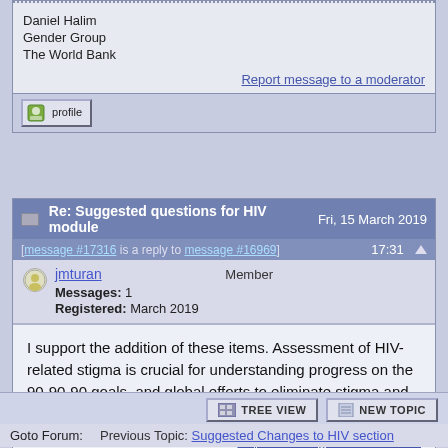Daniel Halim
Gender Group
The World Bank
Report message to a moderator
Re: Suggested questions for HIV module  Fri, 15 March 2019
[message #17316 is a reply to message #16969]  17:31
jmturan  Member
Messages: 1
Registered: March 2019
I support the addition of these items. Assessment of HIV-related stigma is crucial for understanding progress on the 90-90-90 goals, and global efforts to eliminate stigma and discrimination.
Report message to a moderator
Goto Forum:  Previous Topic: Suggested Changes to HIV section